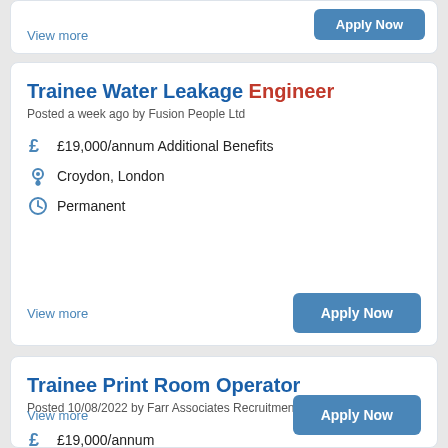View more
Apply Now
Trainee Water Leakage Engineer
Posted a week ago by Fusion People Ltd
£19,000/annum Additional Benefits
Croydon, London
Permanent
View more
Apply Now
Trainee Print Room Operator
Posted 10/08/2022 by Farr Associates Recruitment limited
£19,000/annum
Bradford
Permanent
View more
Apply Now